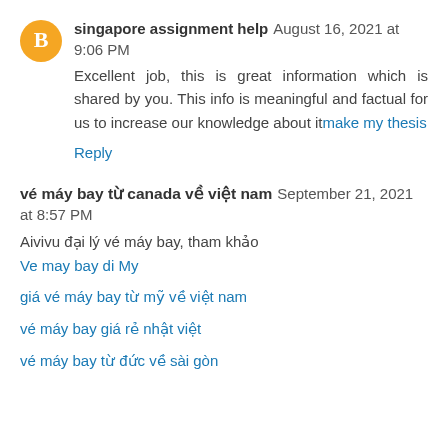singapore assignment help  August 16, 2021 at 9:06 PM
Excellent job, this is great information which is shared by you. This info is meaningful and factual for us to increase our knowledge about itmake my thesis
Reply
vé máy bay từ canada về việt nam  September 21, 2021 at 8:57 PM
Aivivu đại lý vé máy bay, tham khảo
Ve may bay di My
giá vé máy bay từ mỹ về việt nam
vé máy bay giá rẻ nhật việt
vé máy bay từ đức về sài gòn